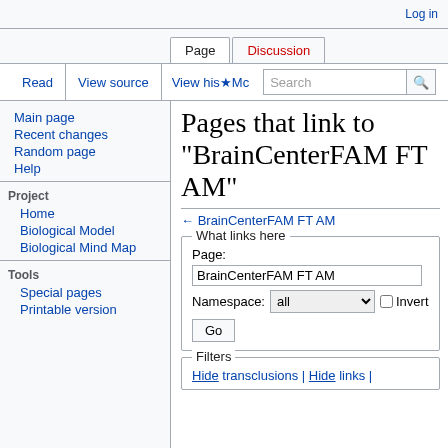Log in
Page | Discussion | Read | View source | View history | Search
Pages that link to "BrainCenterFAM FT AM"
← BrainCenterFAM FT AM
What links here
Page: BrainCenterFAM FT AM
Namespace: all  Invert
Go
Filters
Hide transclusions | Hide links |
Main page
Recent changes
Random page
Help
Project
Home
Biological Model
Biological Mind Map
Tools
Special pages
Printable version